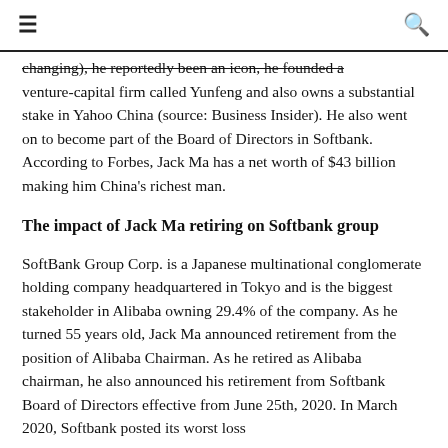≡  🔍
changing), he reportedly been an icon, he founded a venture-capital firm called Yunfeng and also owns a substantial stake in Yahoo China (source: Business Insider). He also went on to become part of the Board of Directors in Softbank. According to Forbes, Jack Ma has a net worth of $43 billion making him China's richest man.
The impact of Jack Ma retiring on Softbank group
SoftBank Group Corp. is a Japanese multinational conglomerate holding company headquartered in Tokyo and is the biggest stakeholder in Alibaba owning 29.4% of the company. As he turned 55 years old, Jack Ma announced retirement from the position of Alibaba Chairman. As he retired as Alibaba chairman, he also announced his retirement from Softbank Board of Directors effective from June 25th, 2020. In March 2020, Softbank posted its worst loss